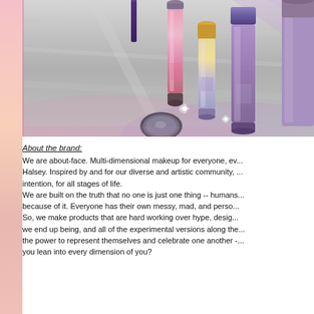[Figure (photo): Product photo of about-face makeup cosmetics including lip glosses and a highlighter stick arranged on a grey/silver reflective surface with purple and pink lighting effects]
About the brand:
We are about-face. Multi-dimensional makeup for everyone, ev... Halsey. Inspired by and for our diverse and artistic community, ... intention, for all stages of life. We are built on the truth that no one is just one thing -- humans... because of it. Everyone has their own messy, mad, and perso... So, we make products that are hard working over hype, desig... we end up being, and all of the experimental versions along the... the power to represent themselves and celebrate one another -... you lean into every dimension of you?